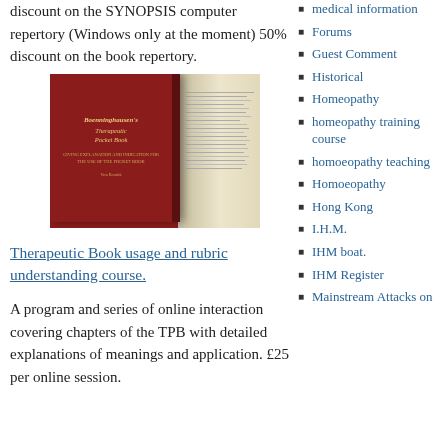discount on the SYNOPSIS computer repertory (Windows only at the moment) 50% discount on the book repertory.
[Figure (photo): Photo of the Boenninghausen Therapeutic Pocket Book (a dark red hardcover book) placed next to an open book, seen from above on a wooden surface.]
Therapeutic Book usage and rubric understanding course.
A program and series of online interaction covering chapters of the TPB with detailed explanations of meanings and application. £25 per online session.
medical information
Forums
Guest Comment
Historical
Homeopathy
homeopathy training course
homoeopathy teaching
Homoeopathy
Hong Kong
I.H.M.
IHM boat.
IHM Register
Mainstream Attacks on